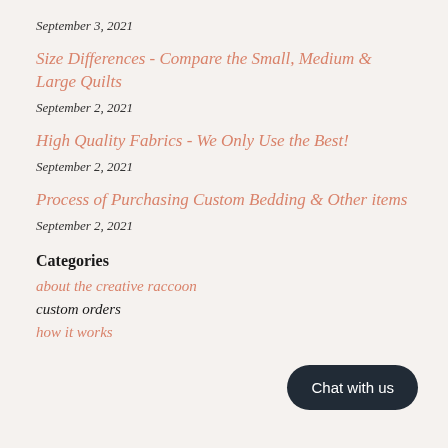September 3, 2021
Size Differences - Compare the Small, Medium & Large Quilts
September 2, 2021
High Quality Fabrics - We Only Use the Best!
September 2, 2021
Process of Purchasing Custom Bedding & Other items
September 2, 2021
Categories
about the creative raccoon
custom orders
how it works